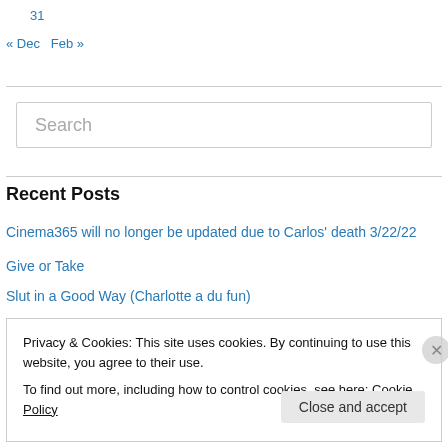31
« Dec   Feb »
Search
Recent Posts
Cinema365 will no longer be updated due to Carlos' death 3/22/22
Give or Take
Slut in a Good Way (Charlotte a du fun)
Privacy & Cookies: This site uses cookies. By continuing to use this website, you agree to their use.
To find out more, including how to control cookies, see here: Cookie Policy
Close and accept